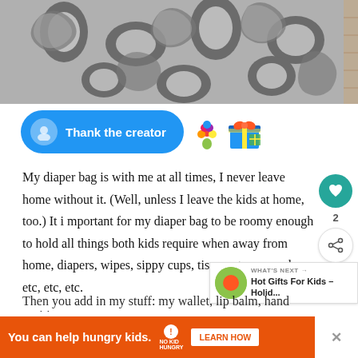[Figure (photo): Black and white floral/damask patterned fabric bag photographed from close up, with decorative swirl and leaf patterns on a light background with brick visible at edge]
[Figure (other): Blue 'Thank the creator' button with white avatar icon on left, flanked by flower bouquet emoji and gift box emoji icons]
My diaper bag is with me at all times, I never leave home without it.  (Well, unless I leave the kids at home, too.)  It is important for my diaper bag to be roomy enough to hold all things both kids require when away from home, diapers, wipes, sippy cups, tissues, toys, snacks, etc, etc, etc.
Then you add in my stuff: my wallet, lip balm, hand sanitizer...
[Figure (other): WHAT'S NEXT widget showing thumbnail image and text 'Hot Gifts For Kids – Holid...']
[Figure (other): Orange advertisement banner: 'You can help hungry kids.' with No Kid Hungry logo and LEARN HOW button]